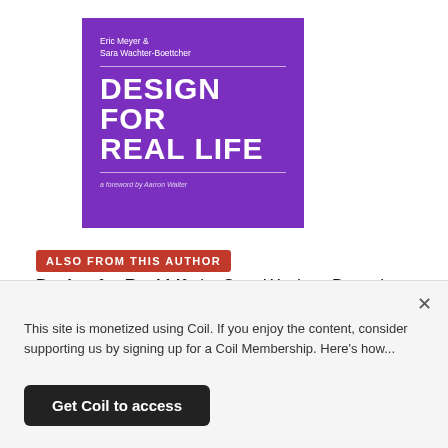[Figure (illustration): Book cover of 'Design for Real Life' by Eric Meyer and Sara Wachter-Boettcher, published by A Book Apart. Purple background with white bold uppercase title text.]
ALSO FROM THIS AUTHOR
Design for Real Life by Sara Wachter-Boettcher
You can't always predict who will use your products, or what emotional state they'll be in when they do. But by identifying stress cases and
This site is monetized using Coil. If you enjoy the content, consider supporting us by signing up for a Coil Membership. Here's how...
Get Coil to access